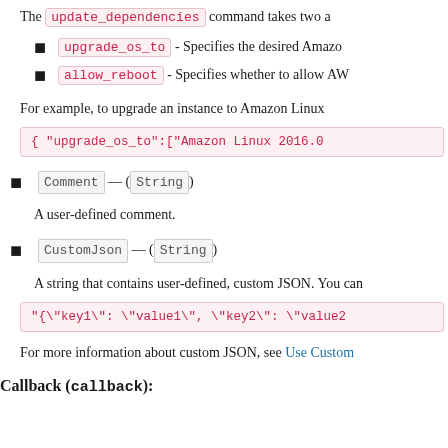The update_dependencies command takes two a
upgrade_os_to - Specifies the desired Amazo
allow_reboot - Specifies whether to allow AW
For example, to upgrade an instance to Amazon Linux
{ "upgrade_os_to":["Amazon Linux 2016.0
Comment — (String)
A user-defined comment.
CustomJson — (String)
A string that contains user-defined, custom JSON. You can
"{\"key1\": \"value1\", \"key2\": \"value2
For more information about custom JSON, see Use Custom
Callback (callback):